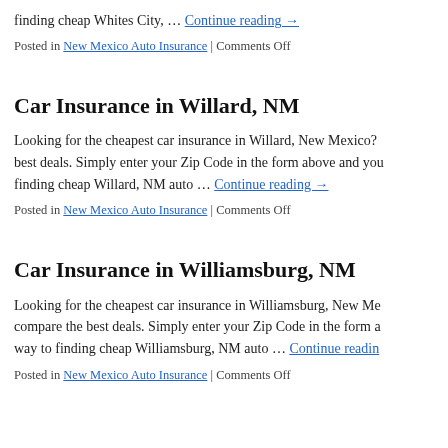finding cheap Whites City, … Continue reading →
Posted in New Mexico Auto Insurance | Comments Off
Car Insurance in Willard, NM
Looking for the cheapest car insurance in Willard, New Mexico? best deals. Simply enter your Zip Code in the form above and you finding cheap Willard, NM auto … Continue reading →
Posted in New Mexico Auto Insurance | Comments Off
Car Insurance in Williamsburg, NM
Looking for the cheapest car insurance in Williamsburg, New Me compare the best deals. Simply enter your Zip Code in the form a way to finding cheap Williamsburg, NM auto … Continue reading
Posted in New Mexico Auto Insurance | Comments Off